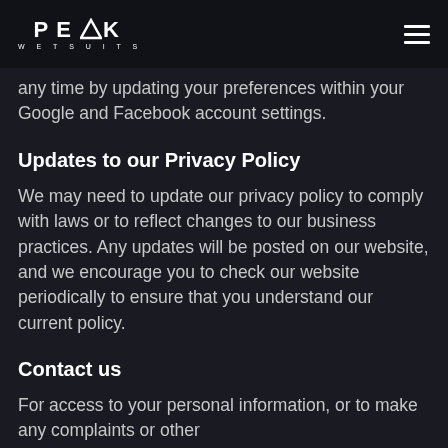PEAK WETSUITS
any time by updating your preferences within your Google and Facebook account settings.
Updates to our Privacy Policy
We may need to update our privacy policy to comply with laws or to reflect changes to our business practices. Any updates will be posted on our website, and we encourage you to check our website periodically to ensure that you understand our current policy.
Contact us
For access to your personal information, or to make any complaints or other